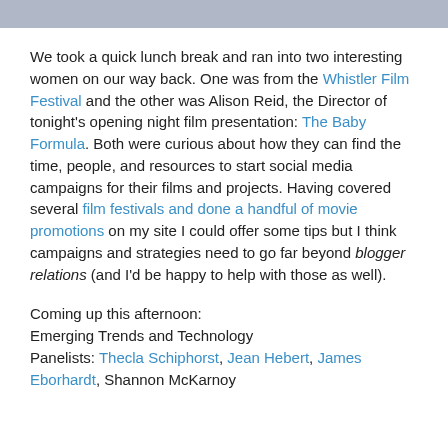[Figure (photo): Cropped photo strip showing people at the bottom, partially visible at top of page]
We took a quick lunch break and ran into two interesting women on our way back. One was from the Whistler Film Festival and the other was Alison Reid, the Director of tonight's opening night film presentation: The Baby Formula. Both were curious about how they can find the time, people, and resources to start social media campaigns for their films and projects. Having covered several film festivals and done a handful of movie promotions on my site I could offer some tips but I think campaigns and strategies need to go far beyond blogger relations (and I'd be happy to help with those as well).
Coming up this afternoon:
Emerging Trends and Technology
Panelists: Thecla Schiphorst, Jean Hebert, James Eborhardt, Shannon McKarnoy